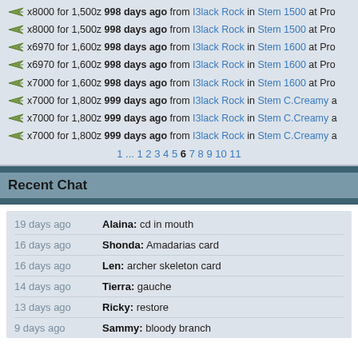x8000 for 1,500z 998 days ago from I3lack Rock in Stem 1500 at Pro
x8000 for 1,500z 998 days ago from I3lack Rock in Stem 1500 at Pro
x6970 for 1,600z 998 days ago from I3lack Rock in Stem 1600 at Pro
x6970 for 1,600z 998 days ago from I3lack Rock in Stem 1600 at Pro
x7000 for 1,600z 998 days ago from I3lack Rock in Stem 1600 at Pro
x7000 for 1,800z 999 days ago from I3lack Rock in Stem C.Creamy a
x7000 for 1,800z 999 days ago from I3lack Rock in Stem C.Creamy a
x7000 for 1,800z 999 days ago from I3lack Rock in Stem C.Creamy a
1 ... 1 2 3 4 5 6 7 8 9 10 11
Recent Chat
19 days ago  Alaina: cd in mouth
16 days ago  Shonda:  Amadarias card
16 days ago  Len: archer skeleton card
14 days ago  Tierra: gauche
13 days ago  Ricky: restore
9 days ago  Sammy: bloody branch